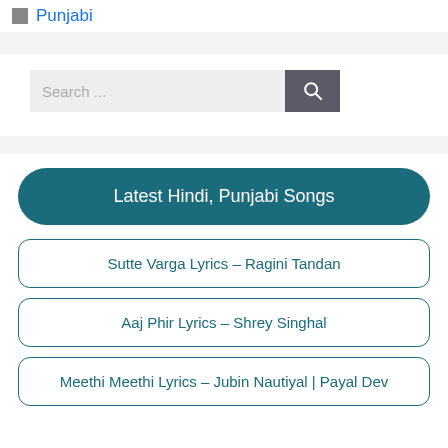Punjabi
[Figure (screenshot): Search bar with text 'Search ...' and a dark search button with magnifying glass icon]
Latest Hindi, Punjabi Songs
Sutte Varga Lyrics – Ragini Tandan
Aaj Phir Lyrics – Shrey Singhal
Meethi Meethi Lyrics – Jubin Nautiyal | Payal Dev